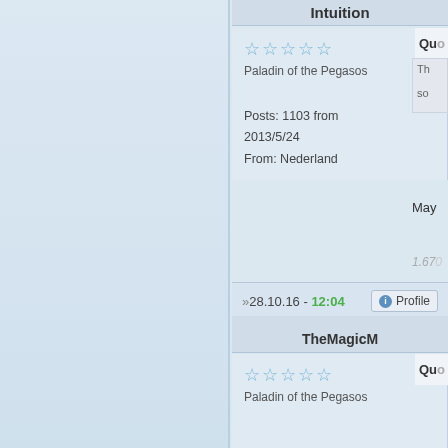Intuition
Paladin of the Pegasos
Posts: 1103 from 2013/5/24
From: Nederland
Qu...
Th... so...
May...
1.67...
2.7G...
»28.10.16 - 12:04
Profile
TheMagicM
Paladin of the Pegasos
Qu...